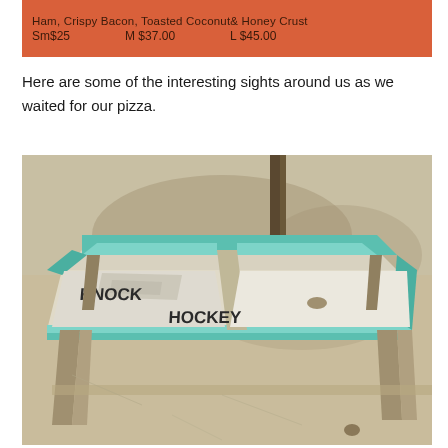[Figure (photo): Orange/red sign showing pizza menu text: 'Ham, Crispy Bacon, Toasted Coconut& Honey Crust Sm$25  M $37.00  L $45.00']
Here are some of the interesting sights around us as we waited for our pizza.
[Figure (photo): Outdoor photo of a rustic wooden table/game with teal painted edges and the text 'KNOCK HOCKEY' painted on the side, set on sandy/concrete ground with dappled tree shade.]